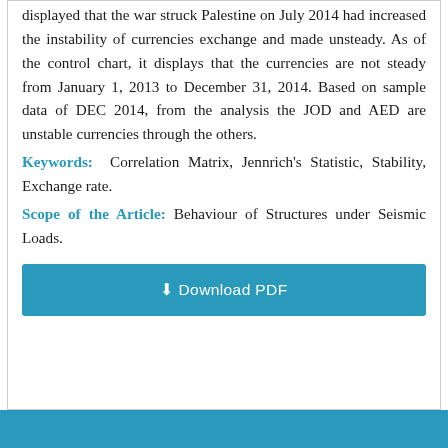displayed that the war struck Palestine on July 2014 had increased the instability of currencies exchange and made unsteady. As of the control chart, it displays that the currencies are not steady from January 1, 2013 to December 31, 2014. Based on sample data of DEC 2014, from the analysis the JOD and AED are unstable currencies through the others.
Keywords: Correlation Matrix, Jennrich's Statistic, Stability, Exchange rate.
Scope of the Article: Behaviour of Structures under Seismic Loads.
[Figure (other): Download PDF button — a teal/cyan rectangular button with a download icon and the text 'Download PDF']